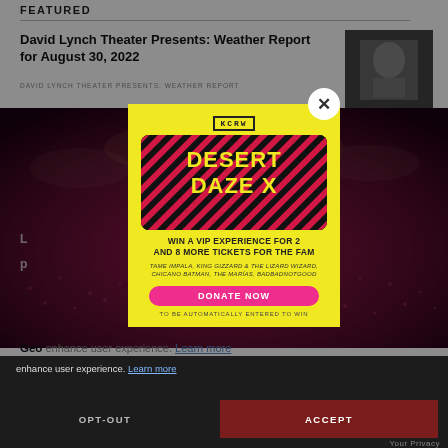FEATURED
David Lynch Theater Presents: Weather Report for August 30, 2022
DAVID LYNCH THEATER PRESENTS: WEATHER REPORT
[Figure (photo): Pink/red-toned concert crowd photo used as background]
[Figure (screenshot): KCRW Desert Daze X modal popup advertisement on yellow background. Text: KCRW logo, DESERT DAZE X, WIN A VIP EXPERIENCE FOR 2 AND 8 MORE TICKETS FOR THE FAM, TAME IMPALA, KING GIZZARD & THE LIZARD WIZARD, CHICANO BATMAN, THE MARIAS, BADBADNOTGOOD, DONATE NOW button, TO BE AUTOMATICALLY ENTERED TO WIN]
George — enhance user experience. Learn more
treat
THE TR
OPT-OUT
ACCEPT
Your Privacy